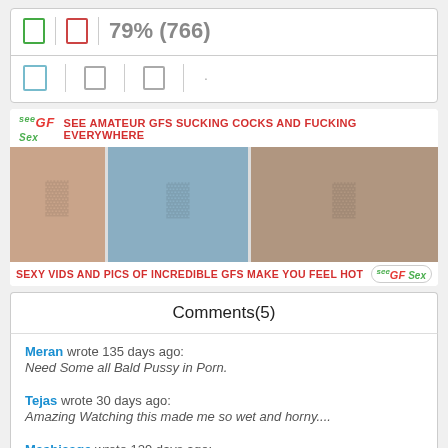[Figure (screenshot): Rating UI with thumbs up (green), thumbs down (red), divider, 79% (766) score]
[Figure (screenshot): Share/social icons row with small icons]
[Figure (photo): Adult advertisement banner: SEE AMATEUR GFS SUCKING COCKS AND FUCKING EVERYWHERE / SEXY VIDS AND PICS OF INCREDIBLE GFS MAKE YOU FEEL HOT]
Comments(5)
Meran wrote 135 days ago:
Need Some all Bald Pussy in Porn.
Tejas wrote 30 days ago:
Amazing Watching this made me so wet and horny....
Meshicage wrote 129 days ago: